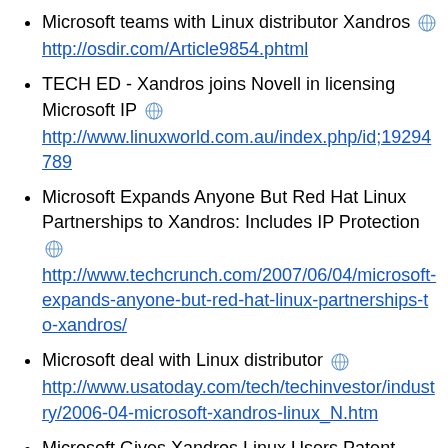Microsoft teams with Linux distributor Xandros [globe] http://osdir.com/Article9854.phtml
TECH ED - Xandros joins Novell in licensing Microsoft IP [globe] http://www.linuxworld.com.au/index.php/id;19294789
Microsoft Expands Anyone But Red Hat Linux Partnerships to Xandros: Includes IP Protection [globe] http://www.techcrunch.com/2007/06/04/microsoft-expands-anyone-but-red-hat-linux-partnerships-to-xandros/
Microsoft deal with Linux distributor [globe] http://www.usatoday.com/tech/techinvestor/industry/2006-04-microsoft-xandros-linux_N.htm
Microsoft Gives Xandros Linux Users Patent Protection [globe] http://www.channelinsider.com/article/Microsoft+Give
Novell Microsoft strikes another Linux deal [globe]